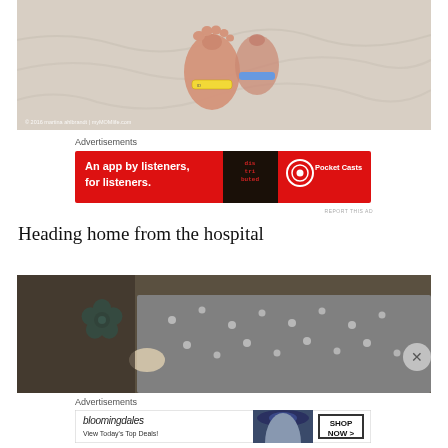[Figure (photo): Close-up photo of newborn baby feet with hospital identification bracelet on white blanket]
© 2016 martina ahlbrandt | myMOMlife.com
Advertisements
[Figure (other): Pocket Casts advertisement: red banner with phone graphic. Text: An app by listeners, for listeners. Pocket Casts logo.]
REPORT THIS AD
Heading home from the hospital
[Figure (photo): Photo showing a grey polka dot fabric or car seat with a teal flower decoration]
Advertisements
[Figure (other): Bloomingdale's advertisement: View Today's Top Deals! Shop Now button. Woman in wide-brim hat.]